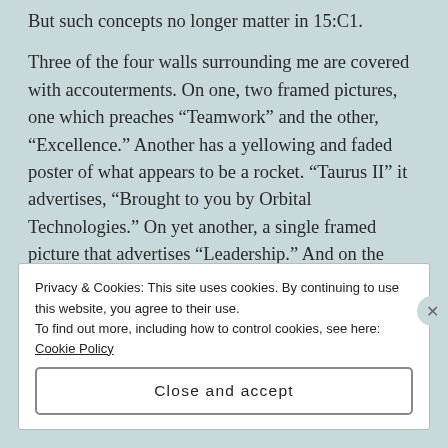But such concepts no longer matter in 15:C1.
Three of the four walls surrounding me are covered with accouterments. On one, two framed pictures, one which preaches “Teamwork” and the other, “Excellence.” Another has a yellowing and faded poster of what appears to be a rocket. “Taurus II” it advertises, “Brought to you by Orbital Technologies.” On yet another, a single framed picture that advertises “Leadership.” And on the final wall? A vicious mockery of the world as it once-was: A mural of a forest at dusk, upon it painted trees whose tops extend well beyond the water-stained and cracked drop ceiling over  my head.
Privacy & Cookies: This site uses cookies. By continuing to use this website, you agree to their use.
To find out more, including how to control cookies, see here: Cookie Policy
Close and accept